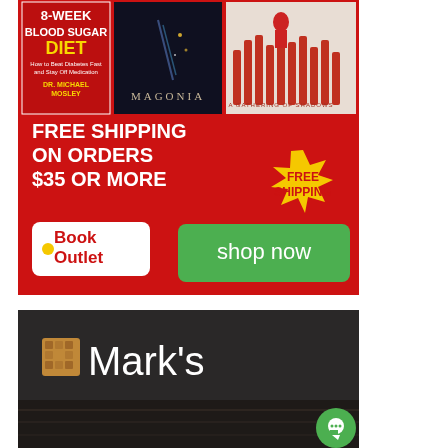[Figure (illustration): Book Outlet advertisement on red background. Shows three book covers (8-Week Blood Sugar Diet, Magonia, A Gathering of Shadows), text 'FREE SHIPPING ON ORDERS $35 OR MORE', a yellow starburst badge saying 'FREE SHIPPING', Book Outlet logo, and a green 'shop now' button.]
[Figure (photo): Mark's store advertisement. Dark background with wooden surface. Shows Mark's logo (orange icon and white text 'Mark's'). Small green chat bubble icon in the bottom right.]